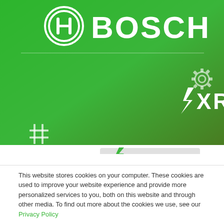[Figure (logo): Bosch logo with circular icon and BOSCH text on green gradient background, with XRAY text and lightning bolt icon, gear icon, and hash icon]
This website stores cookies on your computer. These cookies are used to improve your website experience and provide more personalized services to you, both on this website and through other media. To find out more about the cookies we use, see our Privacy Policy
Accept all cookies